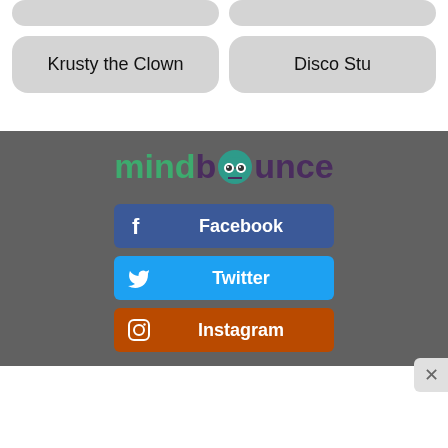Krusty the Clown
Disco Stu
[Figure (logo): Mindbounce logo with green 'mind' text and purple 'bounce' text with cartoon owl face replacing the letter 'o']
Facebook
Twitter
Instagram